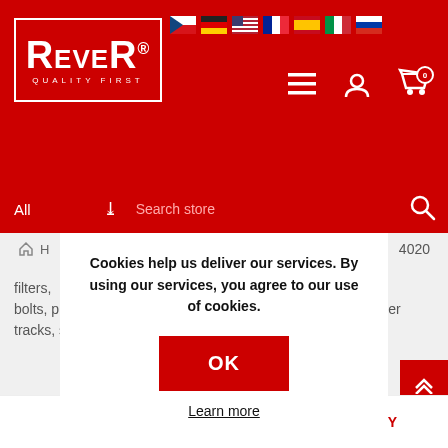[Figure (screenshot): ReveR Quality First logo in white on red background with white border]
[Figure (screenshot): Country flag icons: Czech, German, US, French, Spanish, Italian, Russian]
[Figure (screenshot): Navigation icons: hamburger menu, user account, shopping cart with 0]
All
Search store
Cookies help us deliver our services. By using our services, you agree to our use of cookies.
OK
Learn more
4020
filters, ng kits, bolts, pins, steel bushings, turas, wheel, idler, bearings, rubber tracks, sprockets, track rollers, teeth, adapters, screws
SORT
DISPLAY